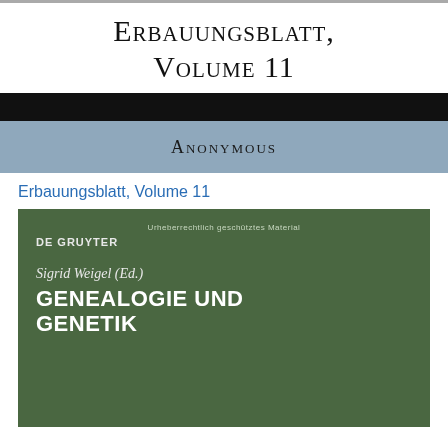Erbauungsblatt, Volume 11
[Figure (illustration): Book cover banner with black strip and blue-grey strip containing the word ANONYMOUS in small-caps]
Erbauungsblatt, Volume 11
[Figure (illustration): Book cover for 'Genealogie und Genetik' edited by Sigrid Weigel, published by De Gruyter, on a dark green background. Includes watermark text 'Urheberrechtlich geschütztes Material'.]